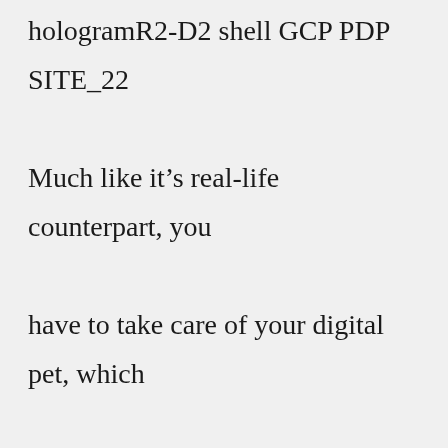hologramR2-D2 shell GCP PDP SITE_22 Much like it’s real-life counterpart, you have to take care of your digital pet, which you can hatch and raise The company behind the retro gadget is banking on … It’s like a traditional tamagotchi, with the characters we all know, but with more content , Nintendo, MGM, Tamagotchi, GoGoRiki and Disney Commercials's movie-spoof of 2015 Disney movie, "Inside Out" SKU: 6257856 I got Maskutchi but